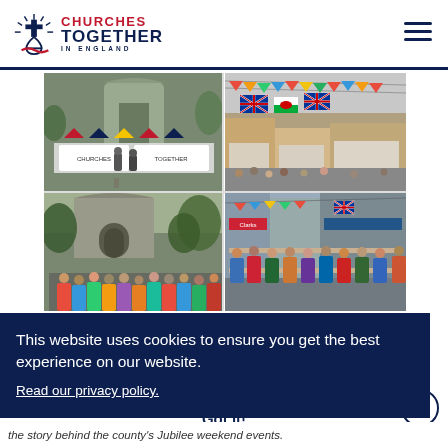[Figure (logo): Churches Together in England logo with cross and anchor icon, red CHURCHES text, navy TOGETHER text, and IN ENGLAND subtitle]
[Figure (photo): A 2x2 grid of four photos: top-left shows a church facade with banners and bunting, top-right shows a street decorated with colorful bunting and Union Jack flags, bottom-left shows a crowd gathered outside a church, bottom-right shows people dining at long tables on a bunting-decorated street]
This website uses cookies to ensure you get the best experience on our website.
Read our privacy policy.
Got it!
the story behind the county's Jubilee weekend events.